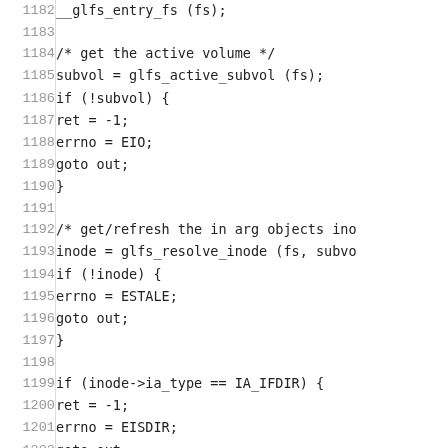Source code listing lines 1182-1211 showing C code for glfs filesystem operations including getting active volume, resolving inodes, checking directory type, and filling location.